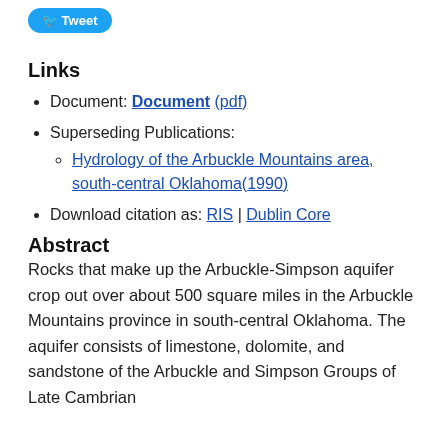Links
Document: Document (pdf)
Superseding Publications:
Hydrology of the Arbuckle Mountains area, south-central Oklahoma(1990)
Download citation as: RIS | Dublin Core
Abstract
Rocks that make up the Arbuckle-Simpson aquifer crop out over about 500 square miles in the Arbuckle Mountains province in south-central Oklahoma. The aquifer consists of limestone, dolomite, and sandstone of the Arbuckle and Simpson Groups of Late Cambrian